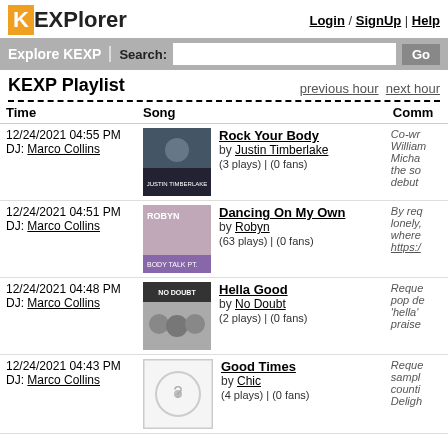KEXPlorer — Login / SignUp | Help
Explore KEXP | Search: [input] Go
KEXP Playlist
previous hour  next hour
| Time | Song | Comm |
| --- | --- | --- |
| 12/24/2021 04:55 PM
DJ: Marco Collins | Rock Your Body
by Justin Timberlake
(3 plays) | (0 fans) | Co-wr William Micha the so debut |
| 12/24/2021 04:51 PM
DJ: Marco Collins | Dancing On My Own
by Robyn
(63 plays) | (0 fans) | By req lonely, where https:/ |
| 12/24/2021 04:48 PM
DJ: Marco Collins | Hella Good
by No Doubt
(2 plays) | (0 fans) | Reque pop de 'hella' praise |
| 12/24/2021 04:43 PM
DJ: Marco Collins | Good Times
by Chic
(4 plays) | (0 fans) | Reque sampl counti Deligh |